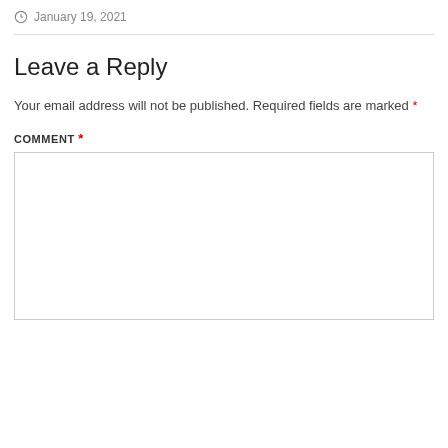January 19, 2021
Leave a Reply
Your email address will not be published. Required fields are marked *
COMMENT *